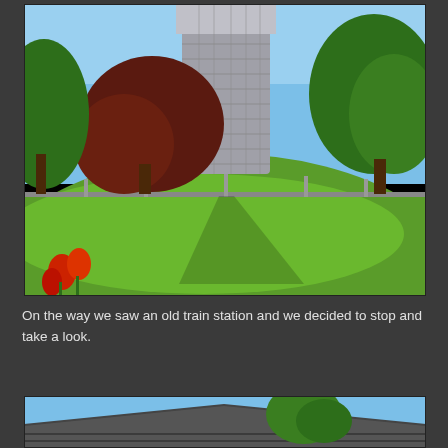[Figure (photo): Outdoor photo of a large cylindrical stone water tower or silo structure on a green grassy hill, surrounded by trees (green and dark red foliage) under a clear blue sky. Red flowers are visible in the lower left corner. A railing or fence runs along the hilltop.]
On the way we saw an old train station and we decided to stop and take a look.
[Figure (photo): Partial view of a building rooftop with gray shingles and a tree with green leaves against a blue sky — appears to be the old train station mentioned in the text.]